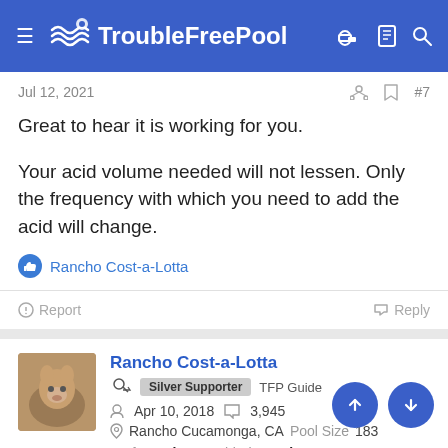TroubleFreePool
Jul 12, 2021
Great to hear it is working for you.
Your acid volume needed will not lessen. Only the frequency with which you need to add the acid will change.
Rancho Cost-a-Lotta
Report
Reply
Rancho Cost-a-Lotta
Silver Supporter  TFP Guide
Apr 10, 2018   3,945
Rancho Cucamonga, CA  Pool Size  183
Surface  Plaster  Chlorine  Salt Water Generator